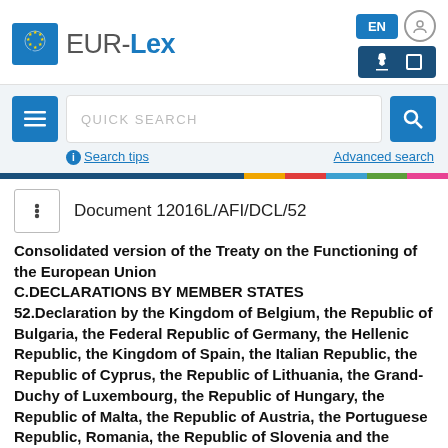EUR-Lex
QUICK SEARCH
Search tips  Advanced search
Document 12016L/AFI/DCL/52
Consolidated version of the Treaty on the Functioning of the European Union C.DECLARATIONS BY MEMBER STATES 52.Declaration by the Kingdom of Belgium, the Republic of Bulgaria, the Federal Republic of Germany, the Hellenic Republic, the Kingdom of Spain, the Italian Republic, the Republic of Cyprus, the Republic of Lithuania, the Grand-Duchy of Luxembourg, the Republic of Hungary, the Republic of Malta, the Republic of Austria, the Portuguese Republic, Romania, the Republic of Slovenia and the Slovak Republic on the symbols of the European Union